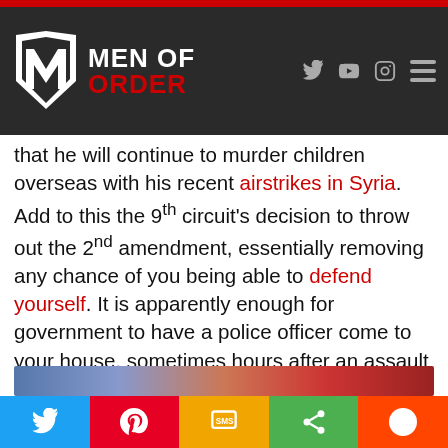MEN OF ORDER — navigation header with social icons
that he will continue to murder children overseas with his recent airstrikes in Syria. Add to this the 9th circuit's decision to throw out the 2nd amendment, essentially removing any chance of you being able to defend yourself. It is apparently enough for government to have a police officer come to your house, sometimes hours after an assault and take a report that might as well be placed right in the trash. They expect you to trust the same people who are flash bombing babies to protect you as they snoop around your house looking for a reason to take YOU to jail.
[Figure (screenshot): Blurred/gradient banner image strip at bottom of article]
Social share bar: Twitter, Pinterest, SMS, Share, Reddit